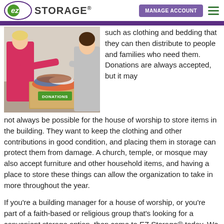EZ Storage® — MANAGE ACCOUNT
[Figure (photo): Two women sorting clothes into a cardboard box labeled DONATIONS]
such as clothing and bedding that they can then distribute to people and families who need them. Donations are always accepted, but it may not always be possible for the house of worship to store items in the building. They want to keep the clothing and other contributions in good condition, and placing them in storage can protect them from damage. A church, temple, or mosque may also accept furniture and other household items, and having a place to store these things can allow the organization to take in more throughout the year.
If you're a building manager for a house of worship, or you're part of a faith-based or religious group that's looking for a convenient storage option, then come to EZ Storage® today. We can help you find a space that fits your budget, and we'll